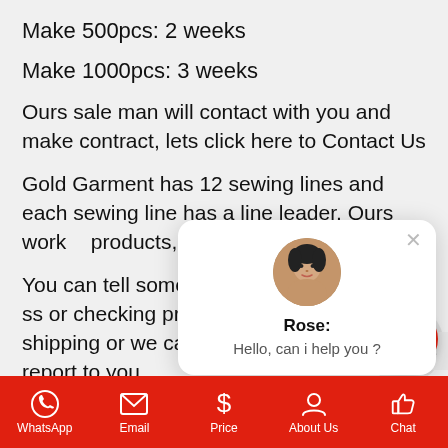Make 500pcs: 2 weeks
Make 1000pcs: 3 weeks
Ours sale man will contact with you and make contract, lets click here to Contact Us
Gold Garment has 12 sewing lines and each sewing line has a line leader, Ours work[ers are trained to do] products, checking, ma[king sure quality]
You can tell someone t[o visit our factory] or checking product when finish before shipping or we can make video, picture and report to you
Gold garment joint stock company will take co...
[Figure (screenshot): Chat popup with avatar photo of Rose, text 'Rose:' in bold and 'Hello, can i help you ?' message. Red X close button top right.]
[Figure (screenshot): Red circular chat button with speech bubble icon, gray circle background. Scroll-up arrow button to the right.]
[Figure (screenshot): Bottom navigation bar in red with icons and labels: WhatsApp, Email, Price, About Us, Chat]